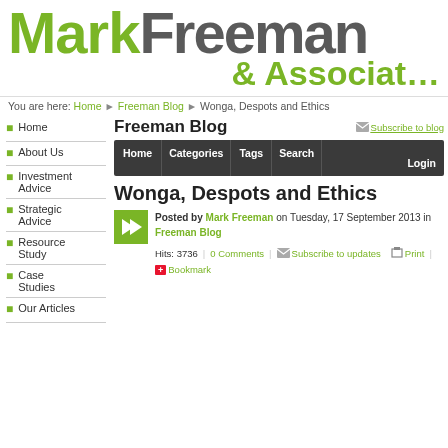[Figure (logo): Mark Freeman & Associates logo with green and grey text]
You are here: Home ▶ Freeman Blog ▶ Wonga, Despots and Ethics
Home
About Us
Investment Advice
Strategic Advice
Resource Study
Case Studies
Our Articles
Freeman Blog
Subscribe to blog
Wonga, Despots and Ethics
Posted by Mark Freeman on Tuesday, 17 September 2013 in Freeman Blog
Hits: 3736  0 Comments  Subscribe to updates  Print  Bookmark